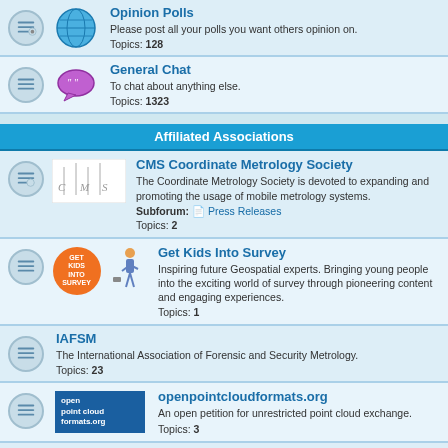Opinion Polls
Please post all your polls you want others opinion on.
Topics: 128
General Chat
To chat about anything else.
Topics: 1323
Affiliated Associations
CMS Coordinate Metrology Society
The Coordinate Metrology Society is devoted to expanding and promoting the usage of mobile metrology systems.
Subforum: Press Releases
Topics: 2
Get Kids Into Survey
Inspiring future Geospatial experts. Bringing young people into the exciting world of survey through pioneering content and engaging experiences.
Topics: 1
IAFSM
The International Association of Forensic and Security Metrology.
Topics: 23
openpointcloudformats.org
An open petition for unrestricted point cloud exchange.
Topics: 3
USIBD
U.S. Institute of Building Construction - The leading resource for the building construction industry.